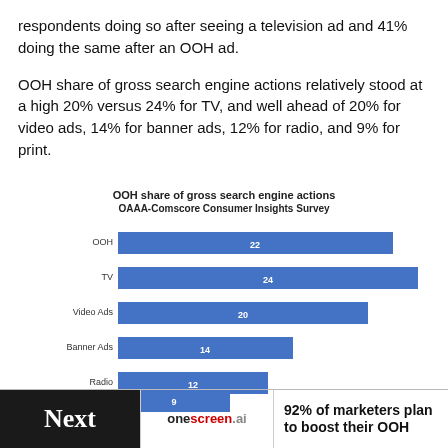respondents doing so after seeing a television ad and 41% doing the same after an OOH ad.
OOH share of gross search engine actions relatively stood at a high 20% versus 24% for TV, and well ahead of 20% for video ads, 14% for banner ads, 12% for radio, and 9% for print.
[Figure (bar-chart): OOH share of gross search engine actions
OAAA-Comscore Consumer Insights Survey]
92% of marketers plan to boost their OOH